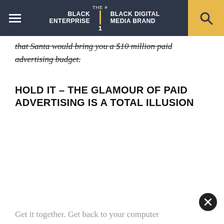BLACK ENTERPRISE THE #1 BLACK DIGITAL MEDIA BRAND
that Santa would bring you a $10 million paid advertising budget.
HOLD IT – THE GLAMOUR OF PAID ADVERTISING IS A TOTAL ILLUSION
Get it together. Get back to your computer